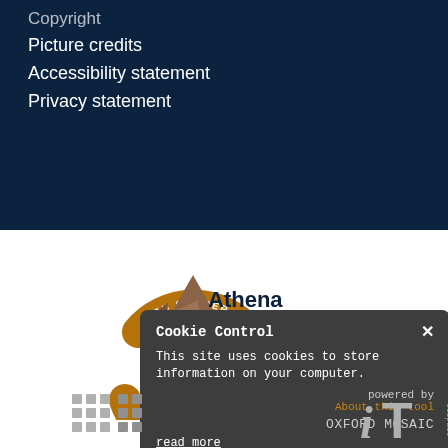Copyright
Picture credits
Accessibility statement
Privacy statement
[Figure (logo): Athena SWAN ECU Gender Charter Bronze Award logo — circular bronze ring with recycling-style arrows and text, next to 'Athena SWAN Bronze Award' in navy/bronze text]
[Figure (screenshot): Cookie Control popup dialog with dark grey background. Title: Cookie Control with X close button. Body text: This site uses cookies to store information on your computer. Links: 'powered by', 'About this tool', 'OXFORD MOSAIC', 'read more']
[Figure (logo): Oxford Mosaic and IT Services logos in grey at bottom of page]